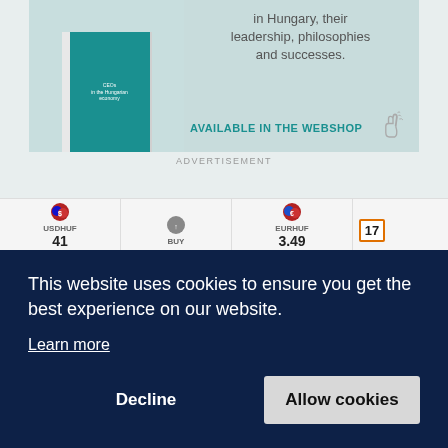[Figure (illustration): Book advertisement banner showing a teal/dark green book cover with 'AVAILABLE IN THE WEBSHOP' text and a hand pointing icon, on a light blue-grey background]
ADVERTISEMENT
[Figure (screenshot): Financial ticker bar showing USDHUF, BUY, EURHUF currency pairs with values 41..., +0.2..., 3.49, 0.00 and TradingView logo]
This website uses cookies to ensure you get the best experience on our website.
Learn more
Decline
Allow cookies
Advertise with us   Work with us   RSS